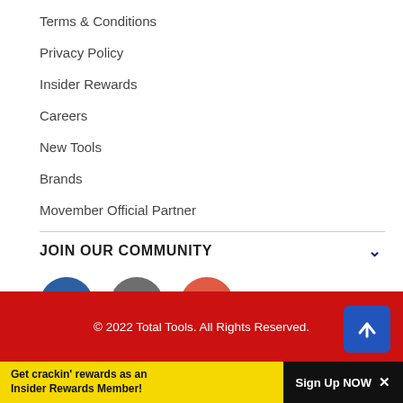Terms & Conditions
Privacy Policy
Insider Rewards
Careers
New Tools
Brands
Movember Official Partner
JOIN OUR COMMUNITY
[Figure (infographic): Three social media icons in circles: Facebook (blue), Instagram (grey), YouTube (red-orange)]
© 2022 Total Tools. All Rights Reserved.
Get crackin' rewards as an Insider Rewards Member!  Sign Up NOW ×